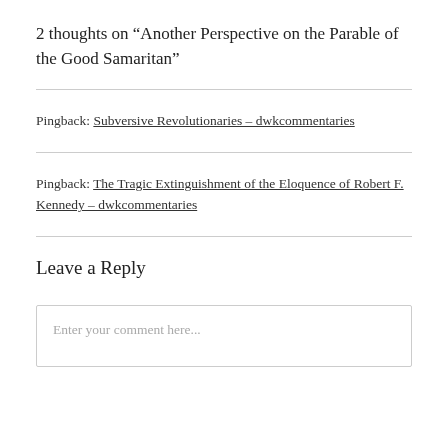2 thoughts on “Another Perspective on the Parable of the Good Samaritan”
Pingback: Subversive Revolutionaries – dwkcommentaries
Pingback: The Tragic Extinguishment of the Eloquence of Robert F. Kennedy – dwkcommentaries
Leave a Reply
Enter your comment here...